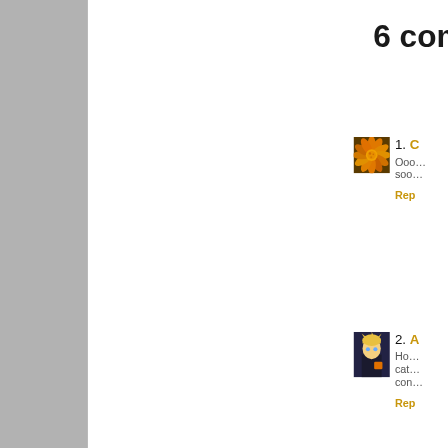6 com…
[Figure (photo): Thumbnail photo of an orange/yellow chrysanthemum flower]
1. [name] Ooo… soo… Rep…
[Figure (photo): Thumbnail avatar of an anime-style character (blond, dark suit)]
2. A… Ho… cat… con… Rep…
This website uses cookies to ensure you get the best experience on our website.
Learn more
Got it!